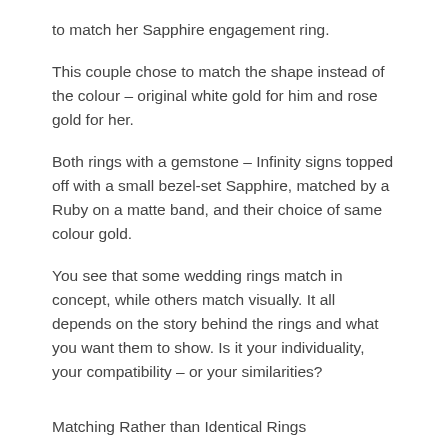to match her Sapphire engagement ring.
This couple chose to match the shape instead of the colour – original white gold for him and rose gold for her.
Both rings with a gemstone – Infinity signs topped off with a small bezel-set Sapphire, matched by a Ruby on a matte band, and their choice of same colour gold.
You see that some wedding rings match in concept, while others match visually. It all depends on the story behind the rings and what you want them to show. Is it your individuality, your compatibility – or your similarities?
Matching Rather than Identical Rings